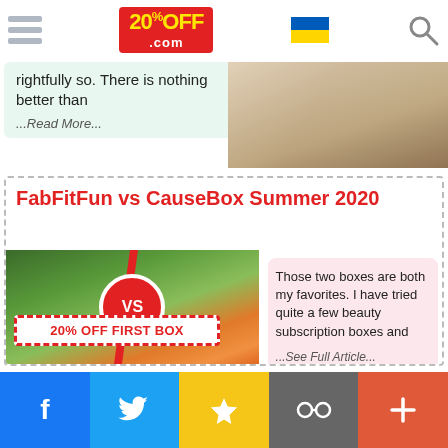20%OFF .com
rightfully so. There is nothing better than
...Read More...
[Figure (photo): Product image on right side of teaser]
FabFitFun vs CauseBox Summer 2020
[Figure (photo): FabFitFun vs CauseBox product comparison photo with VS circle and 20% OFF FIRST BOX banner]
Those two boxes are both my favorites. I have tried quite a few beauty subscription boxes and
...See Full Article...
Facebook  Twitter  Favorites  Link  Plus